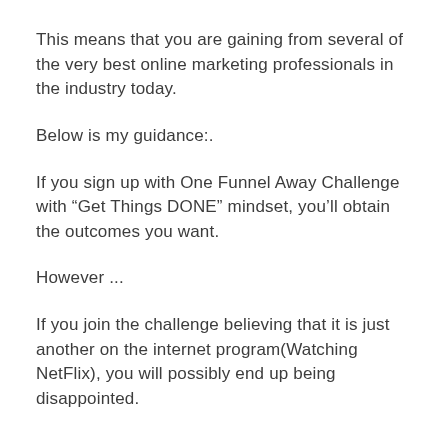This means that you are gaining from several of the very best online marketing professionals in the industry today.
Below is my guidance:.
If you sign up with One Funnel Away Challenge with “Get Things DONE” mindset, you’ll obtain the outcomes you want.
However ...
If you join the challenge believing that it is just another on the internet program(Watching NetFlix), you will possibly end up being disappointed.